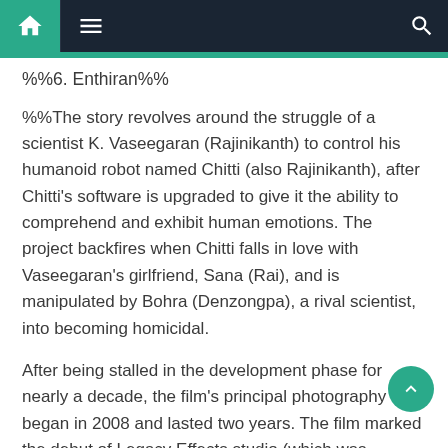Navigation bar with home, menu, and search icons
%%6. Enthiran%%
%%The story revolves around the struggle of a scientist K. Vaseegaran (Rajinikanth) to control his humanoid robot named Chitti (also Rajinikanth), after Chitti's software is upgraded to give it the ability to comprehend and exhibit human emotions. The project backfires when Chitti falls in love with Vaseegaran's girlfriend, Sana (Rai), and is manipulated by Bohra (Denzongpa), a rival scientist, into becoming homicidal.
After being stalled in the development phase for nearly a decade, the film's principal photography began in 2008 and lasted two years. The film marked the debut of Legacy Effects studio (which was responsible for the film's prosthetic make-up and animatronics) in Indian cinema